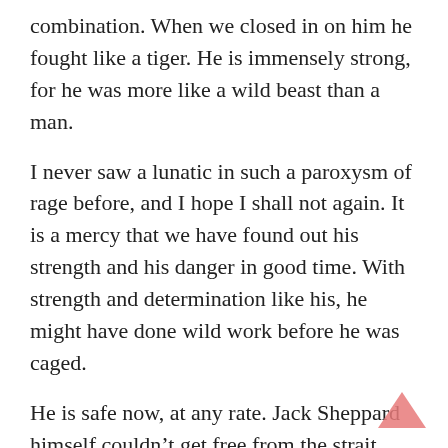combination. When we closed in on him he fought like a tiger. He is immensely strong, for he was more like a wild beast than a man.
I never saw a lunatic in such a paroxysm of rage before, and I hope I shall not again. It is a mercy that we have found out his strength and his danger in good time. With strength and determination like his, he might have done wild work before he was caged.
He is safe now, at any rate. Jack Sheppard himself couldn’t get free from the strait waistcoat that keeps him restrained, and he’s chained to the wall in the padded room.
His cries are at times awful, but the silences that follow are more deadly still, for he means murder in every turn and movement.
[Figure (illustration): A pink/salmon upward-pointing arrow or chevron icon in the bottom-right corner, indicating a back-to-top button.]